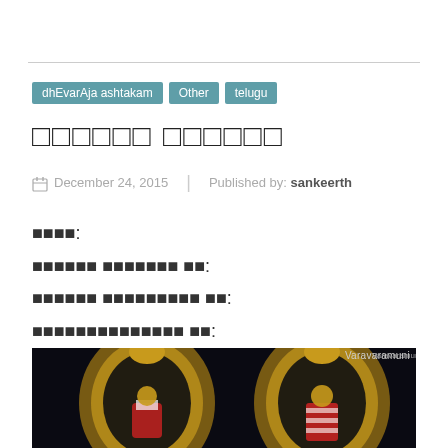dhEvarAja ashtakam
Other
telugu
□□□□□□ □□□□□□
December 24, 2015 | Published by: sankeerth
□□□□:
□□□□□□ □□□□□□□ □□:
□□□□□□ □□□□□□□□□ □□:
□□□□□□□□□□□□□□ □□:
[Figure (photo): Dark background photo showing two Hindu temple deity statues with golden arched frames (prabhavali), the deities dressed in red and white striped garments. Watermark 'Varavaramuni' visible in top right.]